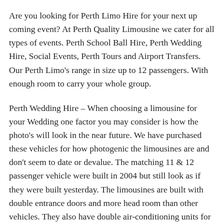Are you looking for Perth Limo Hire for your next up coming event? At Perth Quality Limousine we cater for all types of events. Perth School Ball Hire, Perth Wedding Hire, Social Events, Perth Tours and Airport Transfers. Our Perth Limo's range in size up to 12 passengers. With enough room to carry your whole group.
Perth Wedding Hire – When choosing a limousine for your Wedding one factor you may consider is how the photo's will look in the near future. We have purchased these vehicles for how photogenic the limousines are and don't seem to date or devalue. The matching 11 & 12 passenger vehicle were built in 2004 but still look as if they were built yesterday. The limousines are built with double entrance doors and more head room than other vehicles. They also have double air-conditioning units for the hotter wedding months. We recommend using the one limousine for the whole wedding